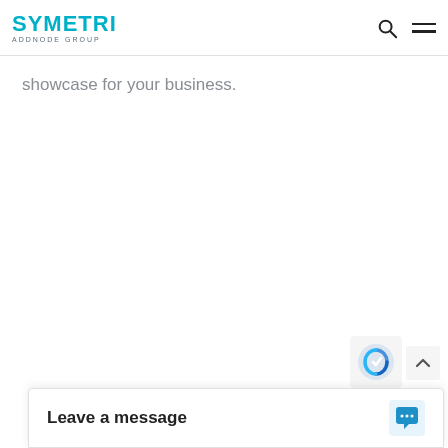SYMETRI ADDNODE GROUP
showcase for your business.
Leave a message